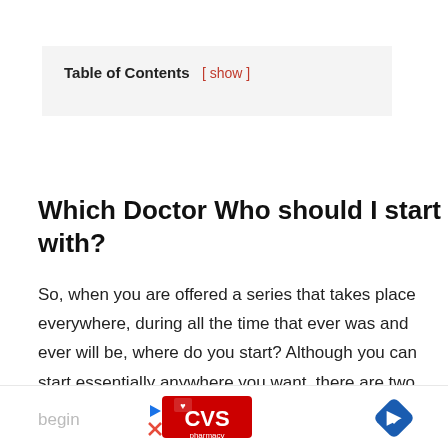Which Doctor Who should I start with?
So, when you are offered a series that takes place everywhere, during all the time that ever was and ever will be, where do you start? Although you can start essentially anywhere you want, there are two most popular methods; from the beginning and from the begin...